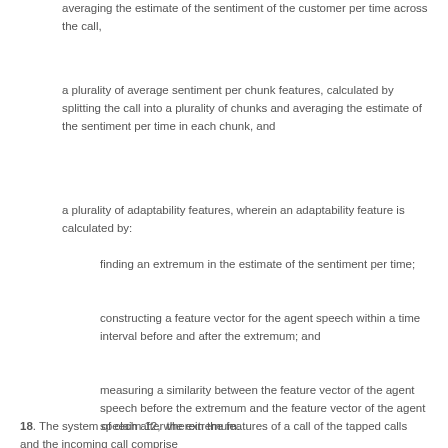averaging the estimate of the sentiment of the customer per time across the call,
a plurality of average sentiment per chunk features, calculated by splitting the call into a plurality of chunks and averaging the estimate of the sentiment per time in each chunk, and
a plurality of adaptability features, wherein an adaptability feature is calculated by:
finding an extremum in the estimate of the sentiment per time;
constructing a feature vector for the agent speech within a time interval before and after the extremum; and
measuring a similarity between the feature vector of the agent speech before the extremum and the feature vector of the agent speech after the extremum.
18. The system of claim 12, wherein the features of a call of the tapped calls and the incoming call comprise